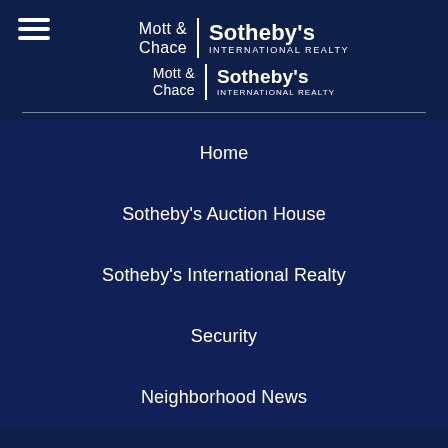[Figure (logo): Mott & Chace | Sotheby's International Realty logo (top, smaller)]
[Figure (logo): Mott & Chace | Sotheby's International Realty logo (second, larger)]
Home
Sotheby's Auction House
Sotheby's International Realty
Security
Neighborhood News